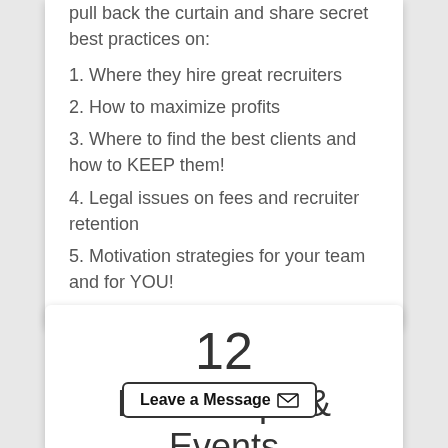pull back the curtain and share secret best practices on:
1. Where they hire great recruiters
2. How to maximize profits
3. Where to find the best clients and how to KEEP them!
4. Legal issues on fees and recruiter retention
5. Motivation strategies for your team and for YOU!
12
Bootcamps & Events
Each ... "Boot Camps" on
Leave a Message